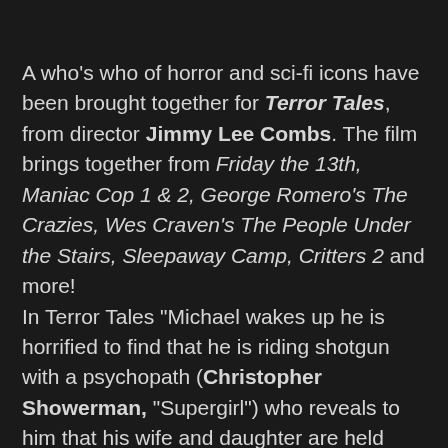A who's who of horror and sci-fi icons have been brought together for Terror Tales, from director Jimmy Lee Combs. The film brings together from Friday the 13th, Maniac Cop 1 & 2, George Romero's The Crazies, Wes Craven's The People Under the Stairs, Sleepaway Camp, Critters 2 and more!
In Terror Tales "Michael wakes up he is horrified to find that he is riding shotgun with a psychopath (Christopher Showerman, "Supergirl") who reveals to him that his wife and daughter are held captive in the attached cargo trailer. The trailer is rigged to release a deadly toxin when triggered